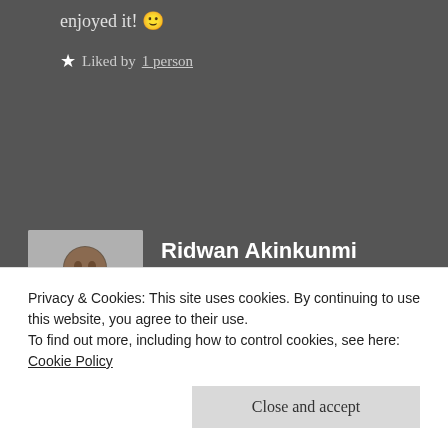enjoyed it! 🙂
★ Liked by 1 person
[Figure (photo): Profile photo of Ridwan Akinkunmi Ajagbe]
Ridwan Akinkunmi Ajagbe
November 29, 2019   Reply
Privacy & Cookies: This site uses cookies. By continuing to use this website, you agree to their use.
To find out more, including how to control cookies, see here: Cookie Policy
Close and accept